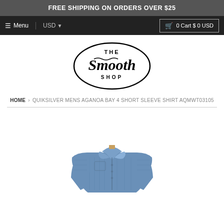FREE SHIPPING ON ORDERS OVER $25
☰ Menu  USD ▼  0 Cart $ 0 USD
[Figure (logo): The Smooth Shop oval logo with cursive script]
HOME › QUIKSILVER MENS AGANOA BAY 4 SHORT SLEEVE SHIRT AQMWT03105
[Figure (photo): Blue short sleeve shirt product photo on white background]